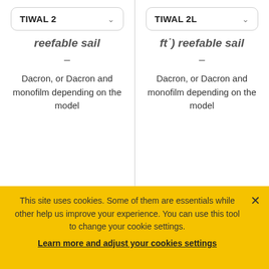TIWAL 2 [dropdown]
reefable sail
–
Dacron, or Dacron and monofilm depending on the model
TIWAL 2L [dropdown]
ft˙) reefable sail
–
Dacron, or Dacron and monofilm depending on the model
BLADES
This site uses cookies. Some of them are essentials while other help us improve your experience. You can use this tool to change your cookie settings. Learn more and adjust your cookies settings